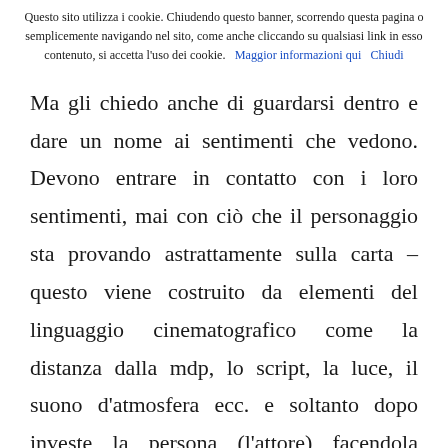Questo sito utilizza i cookie. Chiudendo questo banner, scorrendo questa pagina o semplicemente navigando nel sito, come anche cliccando su qualsiasi link in esso contenuto, si accetta l'uso dei cookie.   Maggior informazioni qui   Chiudi
Ma gli chiedo anche di guardarsi dentro e dare un nome ai sentimenti che vedono. Devono entrare in contatto con i loro sentimenti, mai con ciò che il personaggio sta provando astrattamente sulla carta – questo viene costruito da elementi del linguaggio cinematografico come la distanza dalla mdp, lo script, la luce, il suono d'atmosfera ecc. e soltanto dopo investe la persona (l'attore) facendola diventare un personaggio. In questo modo, i personaggi alla fine non sono rappresentazioni ma degli esseri effettivi e presenti,